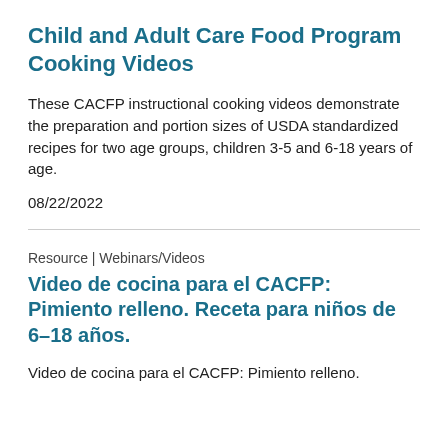Child and Adult Care Food Program Cooking Videos
These CACFP instructional cooking videos demonstrate the preparation and portion sizes of USDA standardized recipes for two age groups, children 3-5 and 6-18 years of age.
08/22/2022
Resource | Webinars/Videos
Video de cocina para el CACFP: Pimiento relleno. Receta para niños de 6–18 años.
Video de cocina para el CACFP: Pimiento relleno.